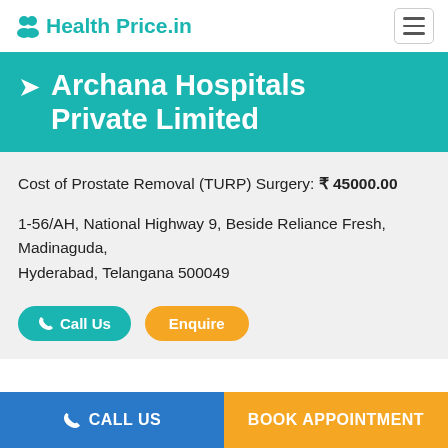Health Price.in
Archana Hospitals Private Limited
Cost of Prostate Removal (TURP) Surgery: ₹ 45000.00
1-56/AH, National Highway 9, Beside Reliance Fresh, Madinaguda,
Hyderabad, Telangana 500049
Call Us   Enquire
CALL US   BOOK APPOINTMENT